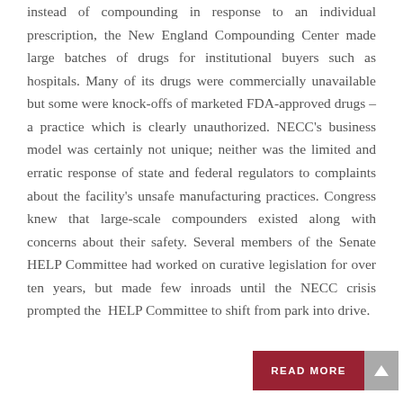instead of compounding in response to an individual prescription, the New England Compounding Center made large batches of drugs for institutional buyers such as hospitals. Many of its drugs were commercially unavailable but some were knock-offs of marketed FDA-approved drugs – a practice which is clearly unauthorized. NECC's business model was certainly not unique; neither was the limited and erratic response of state and federal regulators to complaints about the facility's unsafe manufacturing practices. Congress knew that large-scale compounders existed along with concerns about their safety. Several members of the Senate HELP Committee had worked on curative legislation for over ten years, but made few inroads until the NECC crisis prompted the HELP Committee to shift from park into drive.